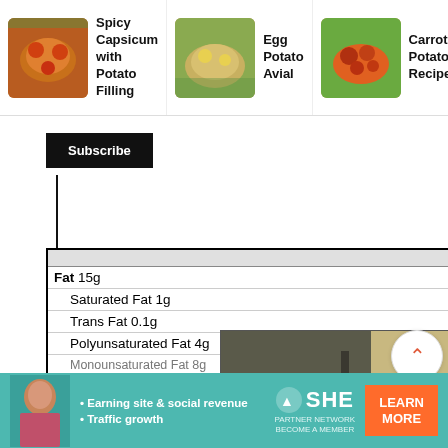[Figure (screenshot): Recipe cards bar showing: Spicy Capsicum with Potato Filling, Egg Potato Avial, Carrot & Potato Poriyal Recipe with food images]
[Figure (screenshot): Subscribe button in black]
| % Daily Value |
| --- |
| Fat 15g | 23% |
| Saturated Fat 1g | 6% |
| Trans Fat 0.1g |  |
| Polyunsaturated Fat 4g |  |
| Monounsaturated Fat 8g |  |
| Calcium 68mg | 7% |
| Iron 3mg | 17% |
[Figure (screenshot): Embedded video player overlay showing a man in plaid shirt with arms crossed in an indoor scene, with Choice TV watermark]
[Figure (screenshot): Side navigation: up arrow button, count 141, heart/favorite button, search button, close X]
[Figure (screenshot): SHE Partner Network advertisement banner: Earning site & social revenue, Traffic growth, LEARN MORE button]